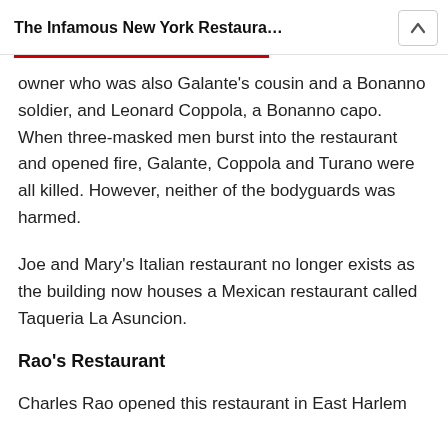The Infamous New York Restaura…
owner who was also Galante's cousin and a Bonanno soldier, and Leonard Coppola, a Bonanno capo. When three-masked men burst into the restaurant and opened fire, Galante, Coppola and Turano were all killed. However, neither of the bodyguards was harmed.
Joe and Mary's Italian restaurant no longer exists as the building now houses a Mexican restaurant called Taqueria La Asuncion.
Rao's Restaurant
Charles Rao opened this restaurant in East Harlem